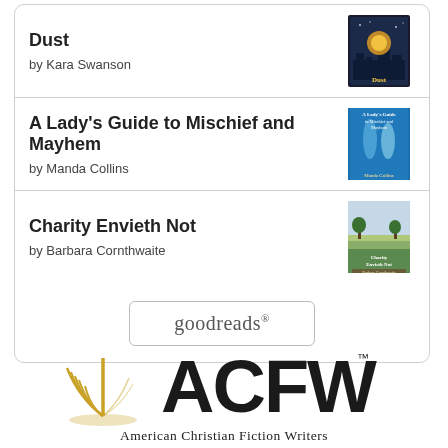Dust by Kara Swanson
A Lady's Guide to Mischief and Mayhem by Manda Collins
Charity Envieth Not by Barbara Cornthwaite
[Figure (logo): goodreads button/logo with rounded rectangle border]
[Figure (logo): ACFW - American Christian Fiction Writers logo with golden book/quill graphic and large bold ACFW text]